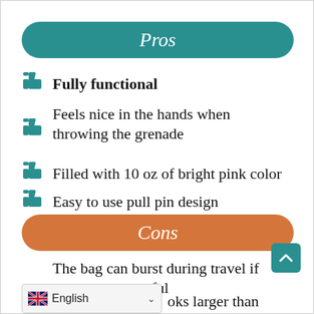Pros
Fully functional
Feels nice in the hands when throwing the grenade
Filled with 10 oz of bright pink color
Easy to use pull pin design
Cons
The bag can burst during travel if you are not careful
oks larger than
English